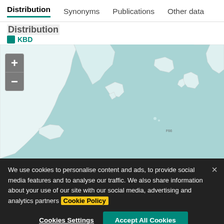Distribution   Synonyms   Publications   Other data
Distribution
KBD
[Figure (map): Interactive map showing distribution across North Atlantic region, with zoom controls (+/-). Map shows ocean in teal/light blue and land masses in white/light grey. Regions visible include eastern North America, Greenland, and western Europe.]
We use cookies to personalise content and ads, to provide social media features and to analyse our traffic. We also share information about your use of our site with our social media, advertising and analytics partners Cookie Policy
Cookies Settings   Accept All Cookies